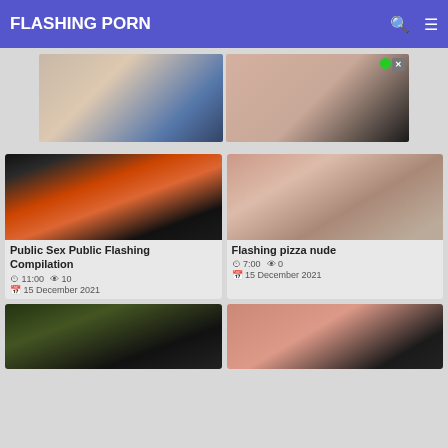FLASHING PORN
[Figure (photo): Top banner with two video thumbnail images]
[Figure (photo): Video thumbnail: Public Sex Public Flashing Compilation]
Public Sex Public Flashing Compilation
11:00  10
15 December 2021
[Figure (photo): Video thumbnail: Flashing pizza nude]
Flashing pizza nude
7:00  0
15 December 2021
[Figure (photo): Video thumbnail partial row left]
[Figure (photo): Video thumbnail partial row right]